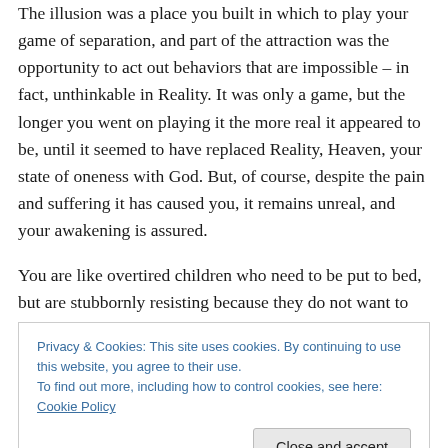The illusion was a place you built in which to play your game of separation, and part of the attraction was the opportunity to act out behaviors that are impossible – in fact, unthinkable in Reality. It was only a game, but the longer you went on playing it the more real it appeared to be, until it seemed to have replaced Reality, Heaven, your state of oneness with God. But, of course, despite the pain and suffering it has caused you, it remains unreal, and your awakening is assured.

You are like overtired children who need to be put to bed, but are stubbornly resisting because they do not want to
Privacy & Cookies: This site uses cookies. By continuing to use this website, you agree to their use.
To find out more, including how to control cookies, see here: Cookie Policy
settle them down to sleep. The parents know that when